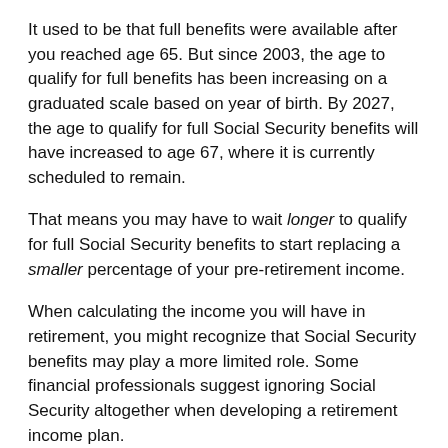It used to be that full benefits were available after you reached age 65. But since 2003, the age to qualify for full benefits has been increasing on a graduated scale based on year of birth. By 2027, the age to qualify for full Social Security benefits will have increased to age 67, where it is currently scheduled to remain.
That means you may have to wait longer to qualify for full Social Security benefits to start replacing a smaller percentage of your pre-retirement income.
When calculating the income you will have in retirement, you might recognize that Social Security benefits may play a more limited role. Some financial professionals suggest ignoring Social Security altogether when developing a retirement income plan.
Source: 1) Social Security Administration, 2021
Note: You can view your statement online by visiting www.ssa.gov/myaccount and creating your own personal Social Security account on the Social Security